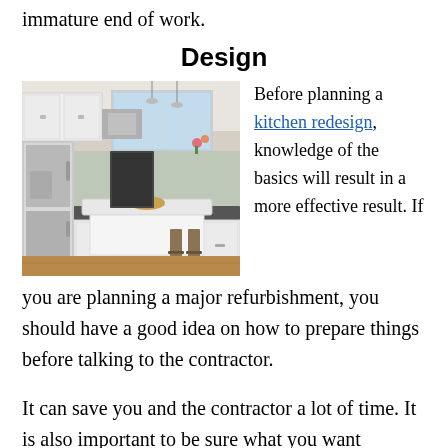immature end of work.
Design
[Figure (photo): A modern kitchen with white cabinets, stainless steel appliances including a refrigerator, a kitchen island with a marble countertop, pendant lights, and bar stools.]
Before planning a kitchen redesign, knowledge of the basics will result in a more effective result. If you are planning a major refurbishment, you should have a good idea on how to prepare things before talking to the contractor.
It can save you and the contractor a lot of time. It is also important to be sure what you want because any